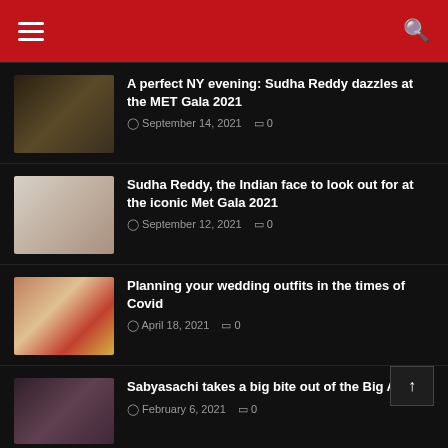Navigation header with hamburger menu and search icon
A perfect NY evening: Sudha Reddy dazzles at the MET Gala 2021 | September 14, 2021 | 0 comments
Sudha Reddy, the Indian face to look out for at the iconic Met Gala 2021 | September 12, 2021 | 0 comments
Planning your wedding outfits in the times of Covid | April 18, 2021 | 0 comments
Sabyasachi takes a big bite out of the Big Apple | February 6, 2021 | 0 comments